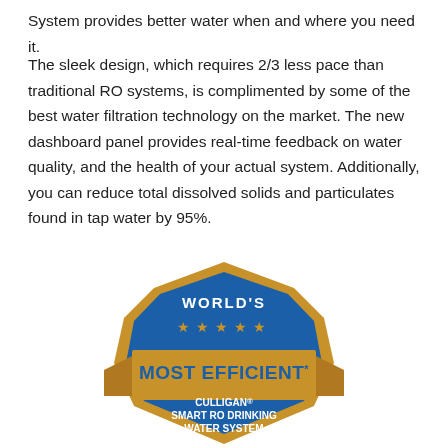System provides better water when and where you need it.
The sleek design, which requires 2/3 less pace than traditional RO systems, is complimented by some of the best water filtration technology on the market. The new dashboard panel provides real-time feedback on water quality, and the health of your actual system. Additionally, you can reduce total dissolved solids and particulates found in tap water by 95%.
[Figure (logo): World's Most Efficient badge — a gold and blue shield/badge emblem with a gold ribbon banner. Text reads: WORLD'S at the top in white on blue, then five gold stars, then MOST EFFICIENT* in large gold text on the ribbon, then CULLIGAN® SMART RO DRINKING WATER SYSTEM in white text on blue at the bottom.]